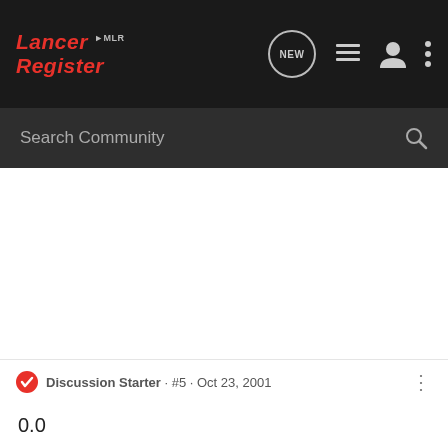Lancer Register MLR — navigation bar with NEW, list, user, and menu icons
Search Community
Posting
Guest ·
Discussion Starter · #5 · Oct 23, 2001
0.0